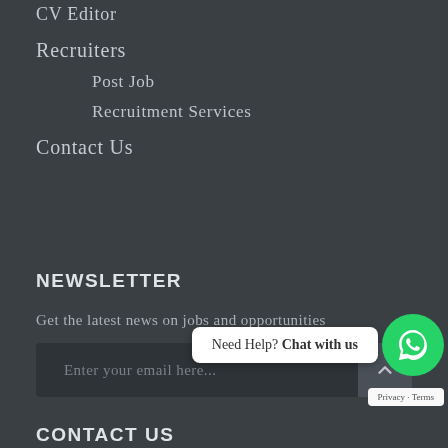CV Editor
Recruiters
Post Job
Recruitment Services
Contact Us
NEWSLETTER
Get the latest news on jobs and opportunities
Enter your email here...
Need Help? Chat with us
CONTACT US